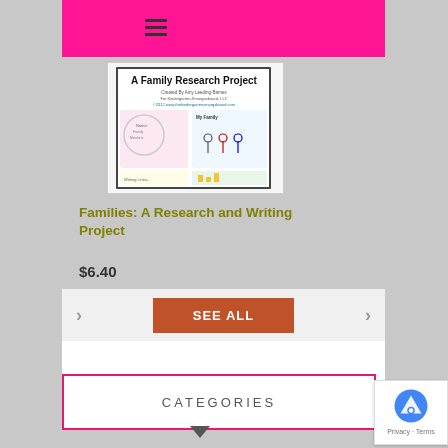[Figure (screenshot): Screenshot of an educational product listing page showing a 'Families: A Research and Writing Project' workbook cover with student work samples]
Families: A Research and Writing Project
$6.40
SEE ALL
CATEGORIES